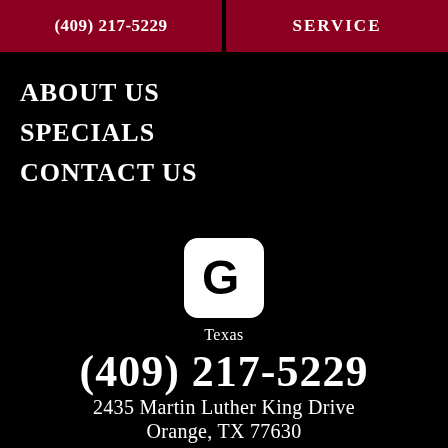(409) 217-5229 | SERVICE
ABOUT US
SPECIALS
CONTACT US
[Figure (logo): Google 'G' logo icon in white rounded square, with label 'Texas' below]
(409) 217-5229
2435 Martin Luther King Drive
Orange, TX 77630